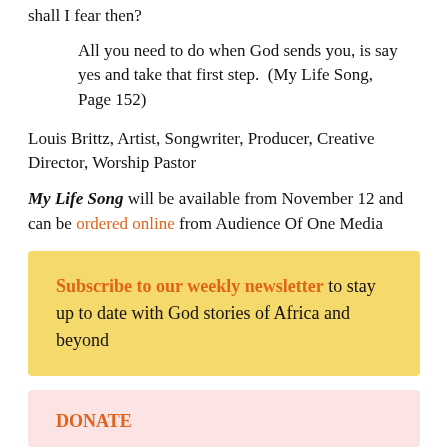shall I fear then?
All you need to do when God sends you, is say yes and take that first step. (My Life Song, Page 152)
Louis Brittz, Artist, Songwriter, Producer, Creative Director, Worship Pastor
My Life Song will be available from November 12 and can be ordered online from Audience Of One Media
Subscribe to our weekly newsletter to stay up to date with God stories of Africa and beyond
DONATE